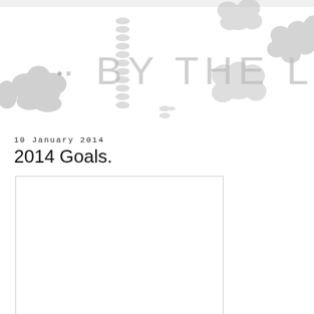[Figure (illustration): Blog header banner with decorative gray botanical/floral shapes and the text '· BY THE LOCK·' in a thin gray font overlaid on the pattern]
10 January 2014
2014 Goals.
[Figure (photo): A large white/blank rectangular image placeholder with a light gray border]